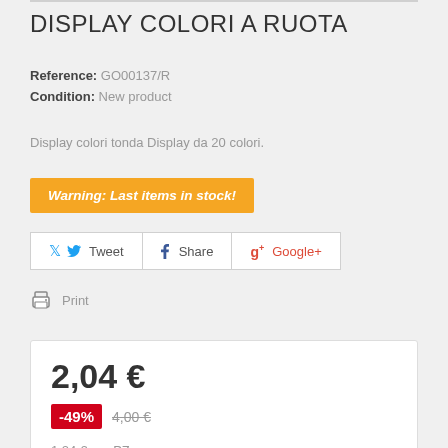DISPLAY COLORI A RUOTA
Reference: GO00137/R
Condition: New product
Display colori tonda Display da 20 colori.
Warning: Last items in stock!
Tweet
Share
Google+
Print
2,04 €
-49% 4,00€
1,24 € per PZ